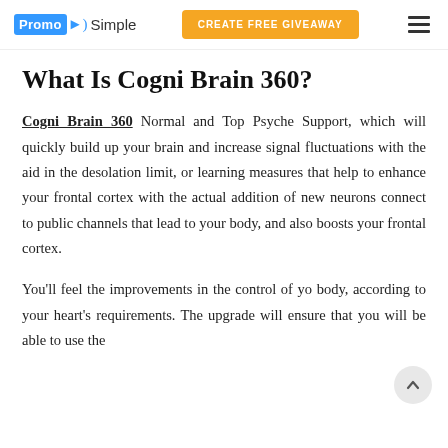PromoSimple | CREATE FREE GIVEAWAY
What Is Cogni Brain 360?
Cogni Brain 360 Normal and Top Psyche Support, which will quickly build up your brain and increase signal fluctuations with the aid in the desolation limit, or learning measures that help to enhance your frontal cortex with the actual addition of new neurons connect to public channels that lead to your body, and also boosts your frontal cortex.
You'll feel the improvements in the control of yo body, according to your heart's requirements. The upgrade will ensure that you will be able to use the